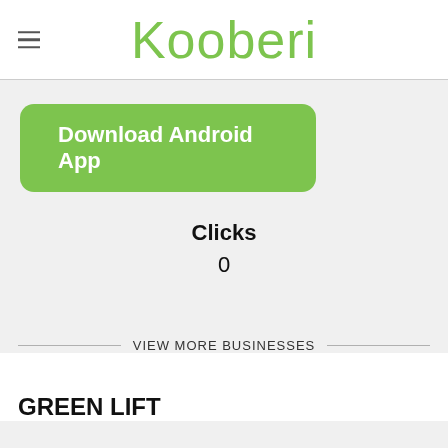Kooberi
[Figure (screenshot): Download Android App button — green rounded rectangle with white bold text]
Clicks
0
VIEW MORE BUSINESSES
GREEN LIFT